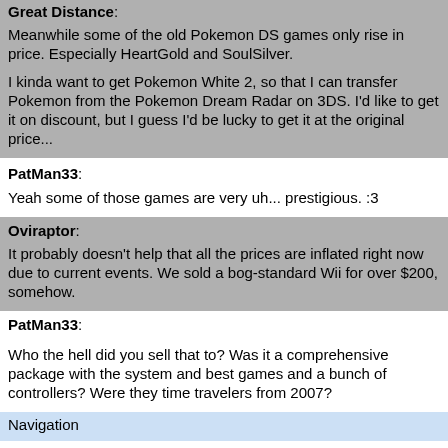Great Distance: Meanwhile some of the old Pokemon DS games only rise in price. Especially HeartGold and SoulSilver.

I kinda want to get Pokemon White 2, so that I can transfer Pokemon from the Pokemon Dream Radar on 3DS. I'd like to get it on discount, but I guess I'd be lucky to get it at the original price...
PatMan33: Yeah some of those games are very uh... prestigious. :3
Oviraptor: It probably doesn't help that all the prices are inflated right now due to current events. We sold a bog-standard Wii for over $200, somehow.
PatMan33:


Who the hell did you sell that to? Was it a comprehensive package with the system and best games and a bunch of controllers? Were they time travelers from 2007?
Navigation
[0] Message Index